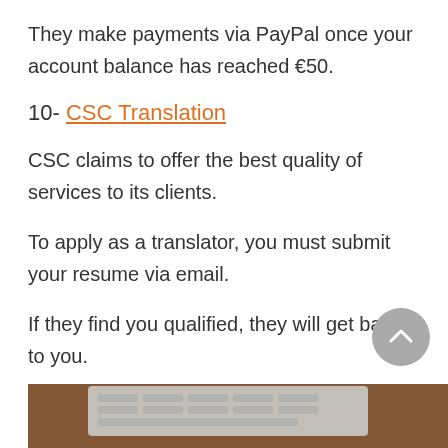They make payments via PayPal once your account balance has reached €50.
10- CSC Translation
CSC claims to offer the best quality of services to its clients.
To apply as a translator, you must submit your resume via email.
If they find you qualified, they will get back to you.
[Figure (photo): Partial photo of a laptop keyboard on a wooden desk, visible at the bottom of the page.]